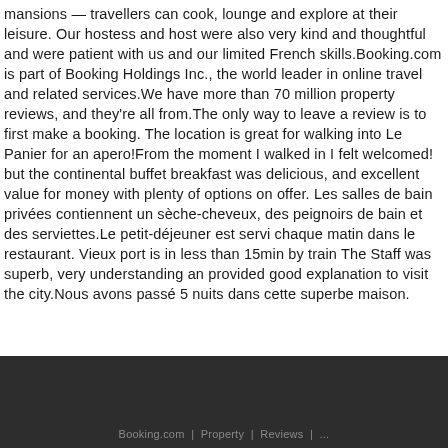mansions — travellers can cook, lounge and explore at their leisure. Our hostess and host were also very kind and thoughtful and were patient with us and our limited French skills.Booking.com is part of Booking Holdings Inc., the world leader in online travel and related services.We have more than 70 million property reviews, and they're all from.The only way to leave a review is to first make a booking. The location is great for walking into Le Panier for an apero!From the moment I walked in I felt welcomed! but the continental buffet breakfast was delicious, and excellent value for money with plenty of options on offer. Les salles de bain privées contiennent un sèche-cheveux, des peignoirs de bain et des serviettes.Le petit-déjeuner est servi chaque matin dans le restaurant. Vieux port is in less than 15min by train The Staff was superb, very understanding an provided good explanation to visit the city.Nous avons passé 5 nuits dans cette superbe maison.
Booking.com | Property | Reviews | ...